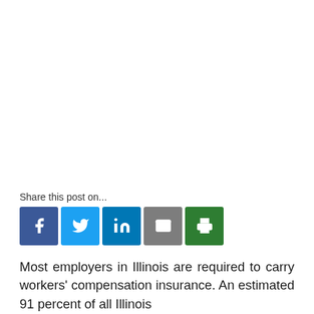[Figure (other): Share this post social media buttons row: Facebook (blue), Twitter (light blue), LinkedIn (dark blue), Email (grey), Print (green)]
Most employers in Illinois are required to carry workers' compensation insurance. An estimated 91 percent of all Illinois